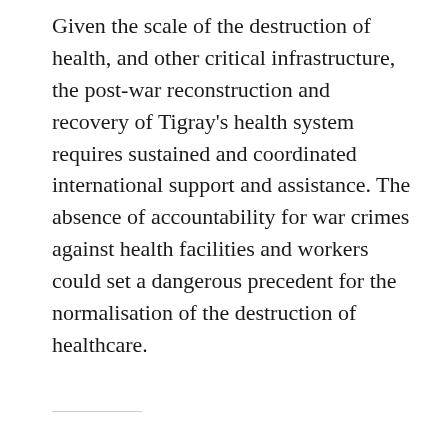Given the scale of the destruction of health, and other critical infrastructure, the post-war reconstruction and recovery of Tigray's health system requires sustained and coordinated international support and assistance. The absence of accountability for war crimes against health facilities and workers could set a dangerous precedent for the normalisation of the destruction of healthcare.
The Conversation